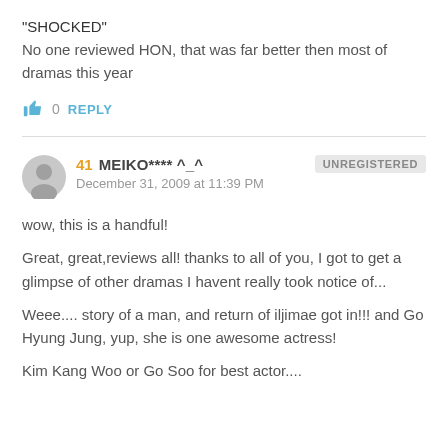"SHOCKED"
No one reviewed HON, that was far better then most of dramas this year
0   REPLY
41  MEIKO**** ^_^   UNREGISTERED
December 31, 2009 at 11:39 PM
wow, this is a handful!
Great, great,reviews all! thanks to all of you, I got to get a glimpse of other dramas I havent really took notice of...
Weee.... story of a man, and return of iljimae got in!!! and Go Hyung Jung, yup, she is one awesome actress!
Kim Kang Woo or Go Soo for best actor....